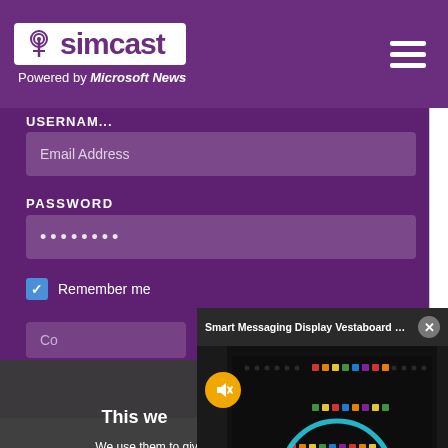[Figure (screenshot): Simcast logo with antenna tower icon on white background, with 'Powered by Microsoft News' text below on purple header]
Powered by Microsoft News
Email Address
PASSWORD
••••••••
Remember me
This we
We use them to give you the be... will assume that you are...
Co
[Figure (screenshot): Smart Messaging Display Vestaboard video popup showing a dark LED display board with colorful LEDs and a teal arc graphic overlay, with mute button and close button]
Entertainment
Health
Lifestyle
Money